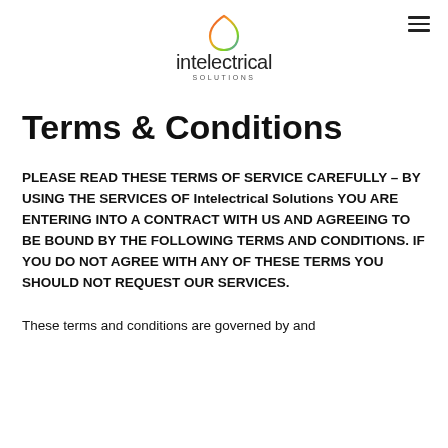intelectrical SOLUTIONS
Terms & Conditions
PLEASE READ THESE TERMS OF SERVICE CAREFULLY – BY USING THE SERVICES OF Intelectrical Solutions YOU ARE ENTERING INTO A CONTRACT WITH US AND AGREEING TO BE BOUND BY THE FOLLOWING TERMS AND CONDITIONS. IF YOU DO NOT AGREE WITH ANY OF THESE TERMS YOU SHOULD NOT REQUEST OUR SERVICES.
These terms and conditions are governed by and